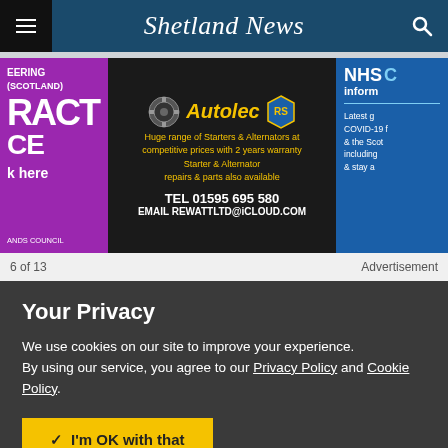Shetland News
[Figure (advertisement): Three advertisement banners side by side: left purple ad (partially visible, engineering/Scotland related), center Autolec ad on dark background with yellow text advertising starters and alternators TEL 01595 695 580 EMAIL REWATTLTD@ICLOUD.COM, right NHS inform ad (partially visible)]
6 of 13
Advertisement
Your Privacy
We use cookies on our site to improve your experience.
By using our service, you agree to our Privacy Policy and Cookie Policy.
I'm OK with that